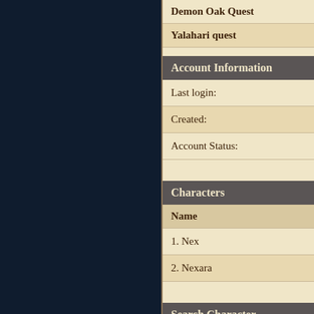Demon Oak Quest
Yalahari quest
Account Information
|  |  |
| --- | --- |
| Last login: | 27 June |
| Created: | 5 July 20 |
| Account Status: | Premium |
Characters
| Name |
| --- |
| 1. Nex |
| 2. Nexara |
Search Character
Name: